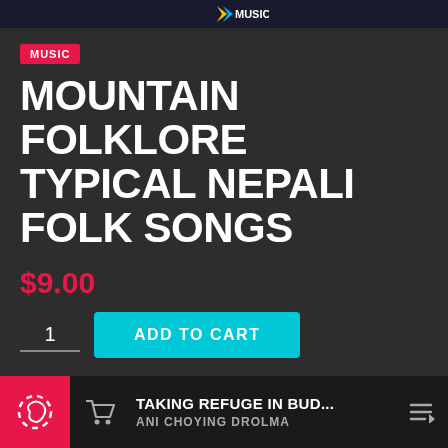MUSIC
MOUNTAIN FOLKLORE TYPICAL NEPALI FOLK SONGS
$9.00
ADD TO CART
[Figure (logo): PayPal button on yellow background]
[Figure (illustration): Wallet/card icon]
TAKING REFUGE IN BUD... ANI CHOYING DROLMA